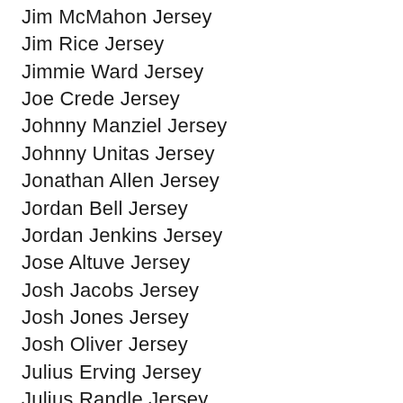Jim McMahon Jersey
Jim Rice Jersey
Jimmie Ward Jersey
Joe Crede Jersey
Johnny Manziel Jersey
Johnny Unitas Jersey
Jonathan Allen Jersey
Jordan Bell Jersey
Jordan Jenkins Jersey
Jose Altuve Jersey
Josh Jacobs Jersey
Josh Jones Jersey
Josh Oliver Jersey
Julius Erving Jersey
Julius Randle Jersey
Jurrell Casey Jersey
Justin McCray Jersey
Justin Turner Jersey